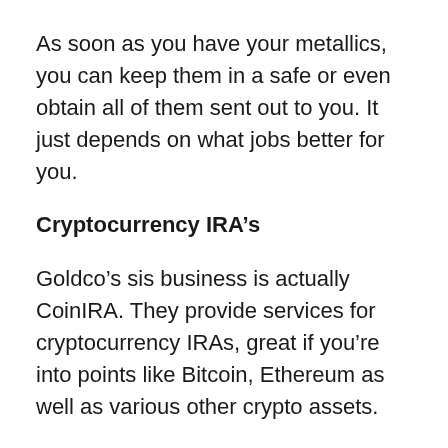As soon as you have your metallics, you can keep them in a safe or even obtain all of them sent out to you. It just depends on what jobs better for you.
Cryptocurrency IRA’s
Goldco’s sis business is actually CoinIRA. They provide services for cryptocurrency IRAs, great if you’re into points like Bitcoin, Ethereum as well as various other crypto assets.
Don’t forget the recession back in 2008, and also just how much turmoil it led to for investors?